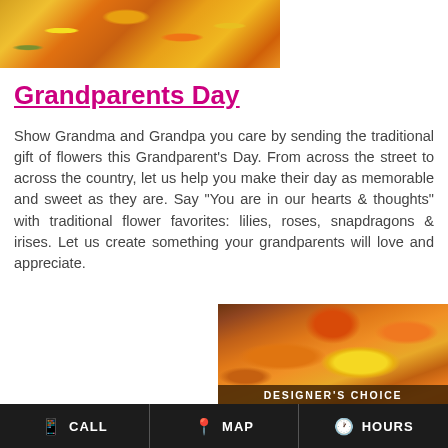[Figure (photo): Close-up photo of orange and yellow flowers (lilies and gerbera daisies) arrangement]
Grandparents Day
Show Grandma and Grandpa you care by sending the traditional gift of flowers this Grandparent's Day. From across the street to across the country, let us help you make their day as memorable and sweet as they are. Say "You are in our hearts & thoughts" with traditional flower favorites: lilies, roses, snapdragons & irises. Let us create something your grandparents will love and appreciate.
[Figure (photo): Photo of orange lilies, yellow sunflower, and orange roses flower arrangement with a DESIGNER'S CHOICE label banner at the bottom]
CALL   MAP   HOURS